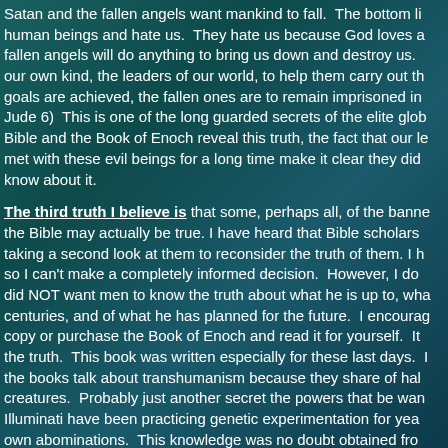Satan and the fallen angels want mankind to fall. The bottom li... human beings and hate us. They hate us because God loves a... fallen angels will do anything to bring us down and destroy us. our own kind, the leaders of our world, to help them carry out th... goals are achieved, the fallen ones are to remain imprisoned in Jude 6) This is one of the long guarded secrets of the elite glob... Bible and the Book of Enoch reveal this truth, the fact that our le... met with these evil beings for a long time make it clear they did know about it.
The third truth I believe is that some, perhaps all, of the banne... the Bible may actually be true. I have heard that Bible scholars taking a second look at them to reconsider the truth of them. I h... so I can't make a completely informed decision. However, I do did NOT want men to know the truth about what he is up to, wha... centuries, and of what he has planned for the future. I encourag... copy or purchase the Book of Enoch and read it for yourself. It the truth. This book was written especially for these last days. I the books talk about transhumanism because they share of hal... creatures. Probably just another secret the powers that be wan... Illuminati have been practicing genetic experimentation for yea... own abominations. This knowledge was no doubt obtained fro... corrupt mankind.